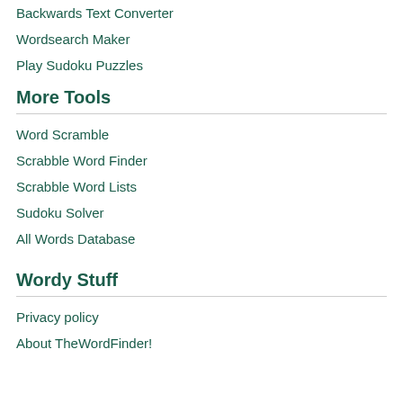Backwards Text Converter
Wordsearch Maker
Play Sudoku Puzzles
More Tools
Word Scramble
Scrabble Word Finder
Scrabble Word Lists
Sudoku Solver
All Words Database
Wordy Stuff
Privacy policy
About TheWordFinder!